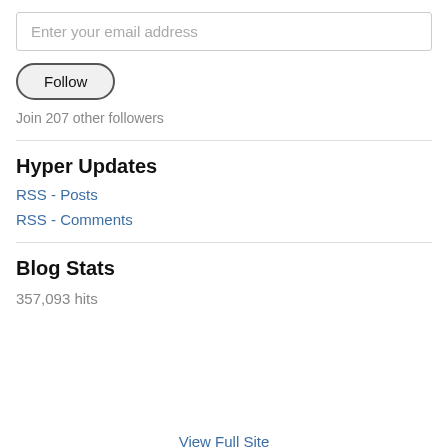Enter your email address
Follow
Join 207 other followers
Hyper Updates
RSS - Posts
RSS - Comments
Blog Stats
357,093 hits
View Full Site